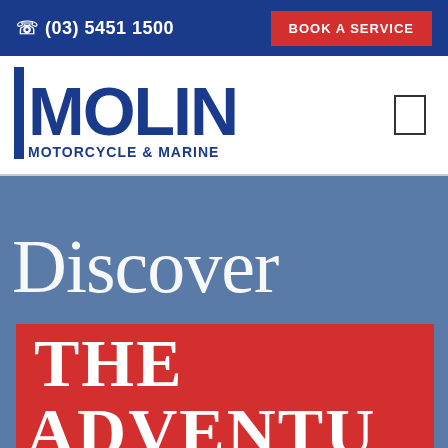☎ (03) 5451 1500   BOOK A SERVICE
[Figure (logo): Molin Motorcycle & Marine logo in dark blue with stylized text]
Discover
THE ADVENTU...